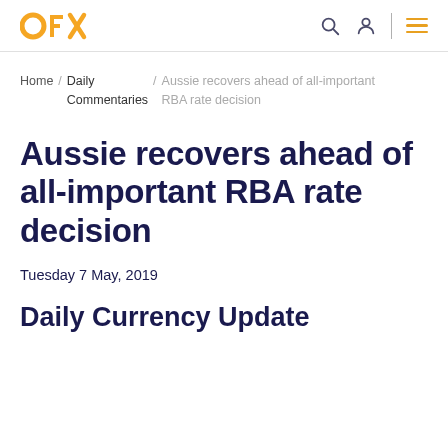OFX
Home / Daily Commentaries / Aussie recovers ahead of all-important RBA rate decision
Aussie recovers ahead of all-important RBA rate decision
Tuesday 7 May, 2019
Daily Currency Update